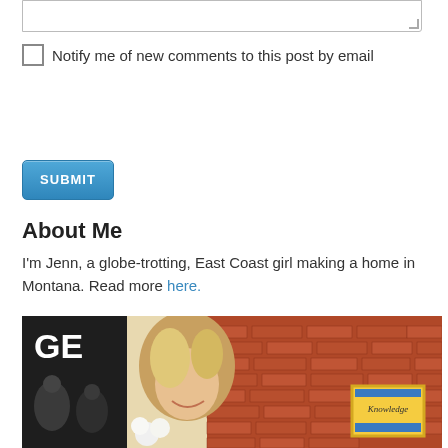[Figure (screenshot): Textarea input box with resize handle in bottom-right corner]
Notify me of new comments to this post by email
SUBMIT button
About Me
I'm Jenn, a globe-trotting, East Coast girl making a home in Montana. Read more here.
[Figure (photo): Photo of a smiling blonde woman holding flowers in front of a brick wall. On the left is a dark background with 'GE' text and people in the background. On the right is a yellow-bordered 'Knowledge' sign.]